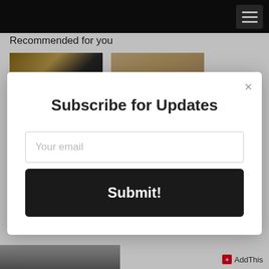Recommended for you
[Figure (screenshot): Thumbnail images row with two partially visible article thumbnails]
Subscribe for Updates
Your email
Submit!
AddThis